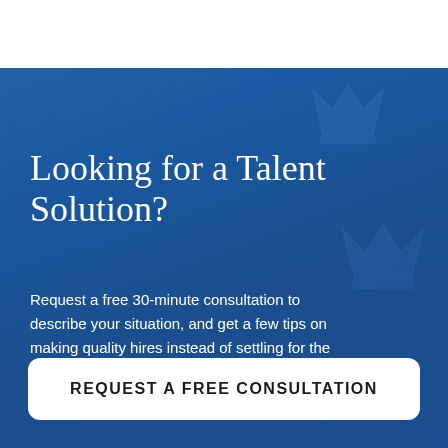Looking for a Talent Solution?
Request a free 30-minute consultation to describe your situation, and get a few tips on making quality hires instead of settling for the best available candidate.
REQUEST A FREE CONSULTATION